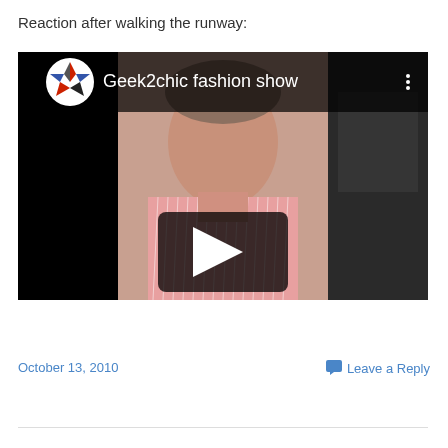Reaction after walking the runway:
[Figure (screenshot): YouTube video thumbnail titled 'Geek2chic fashion show' showing a man in a pink striped shirt with a play button overlay on a dark background]
October 13, 2010
Leave a Reply